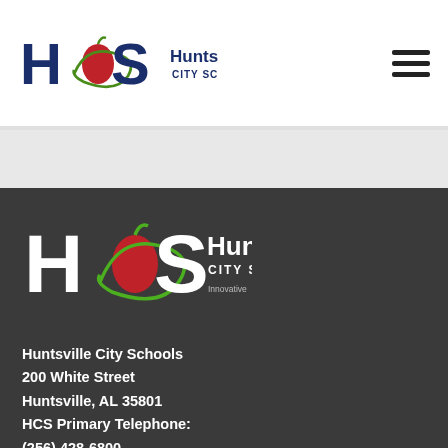[Figure (logo): Huntsville City Schools logo in header - HCS with apple and orbit graphic, red/green/navy colors]
[Figure (logo): Huntsville City Schools large footer logo with tagline: Innovative, Imaginative, Inclusive]
Huntsville City Schools
200 White Street
Huntsville, AL 35801
HCS Primary Telephone:
(256) 428-6800
After-Hours Emergency:
(256) 428-8355